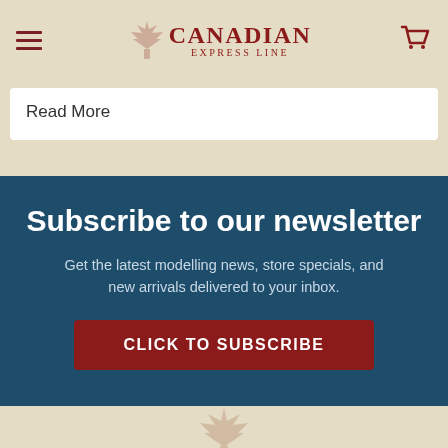Canadian Express Line — navigation header with hamburger menu and cart icon
Read More
Subscribe to our newsletter
Get the latest modelling news, store specials, and new arrivals delivered to your inbox.
CLICK TO SUBSCRIBE